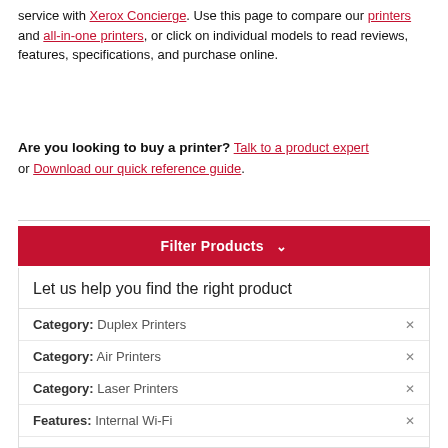service with Xerox Concierge. Use this page to compare our printers and all-in-one printers, or click on individual models to read reviews, features, specifications, and purchase online.
Are you looking to buy a printer? Talk to a product expert or Download our quick reference guide.
Filter Products
Let us help you find the right product
Category: Duplex Printers
Category: Air Printers
Category: Laser Printers
Features: Internal Wi-Fi
Function: Print only
Print Volume: 5,000 to 14,000 pages